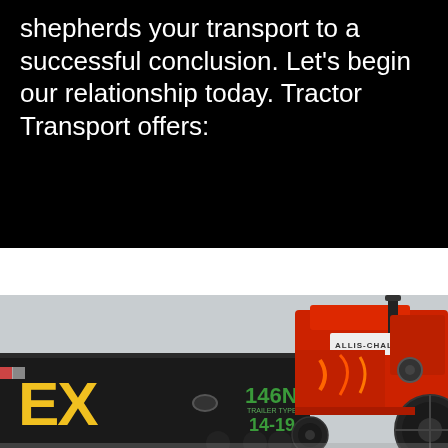shepherds your transport to a successful conclusion. Let's begin our relationship today. Tractor Transport offers:
[Figure (photo): A red Allis-Chalmers tractor loaded on a flatbed transport trailer. The trailer shows 'EX' branding in yellow letters and markings '146N' and '14-19' in green text on the black trailer body.]